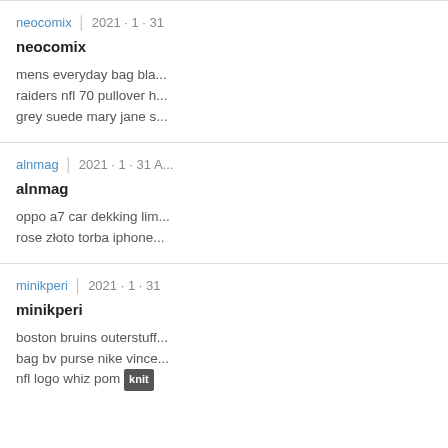neocomix | 2021 · 1 · 31
neocomix
mens everyday bag bla... raiders nfl 70 pullover h... grey suede mary jane s...
alnmag | 2021 · 1 · 31 A...
alnmag
oppo a7 car dekking lim... rose złoto torba iphone...
minikperi | 2021 · 1 · 31
minikperi
boston bruins outerstuff... bag bv purse nike vince... nfl logo whiz pom knit